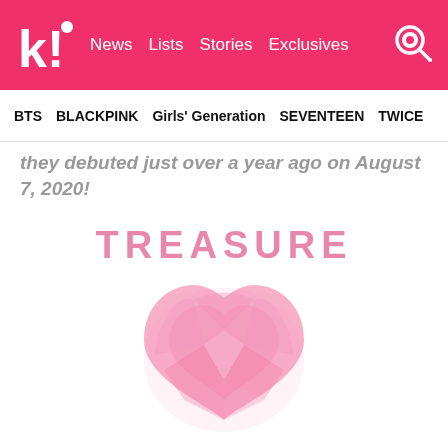kl! News Lists Stories Exclusives
BTS BLACKPINK Girls' Generation SEVENTEEN TWICE
they debuted just over a year ago on August 7, 2020!
[Figure (illustration): TREASURE logo in pink text above a large pink watercolor heart on white background]